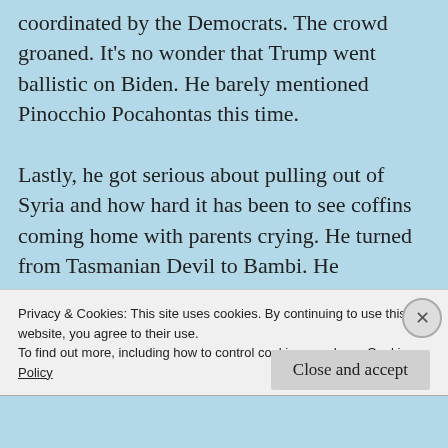coordinated by the Democrats.  The crowd groaned.  It's no wonder that Trump went ballistic on Biden.  He barely mentioned Pinocchio Pocahontas this time.

Lastly, he got serious about pulling out of Syria and how hard it has been to see coffins coming home with parents crying.  He turned from Tasmanian Devil to Bambi. He expressed how hard it was to write the letters of condolence to the family of one that was killed in action.  It
Privacy & Cookies: This site uses cookies. By continuing to use this website, you agree to their use.
To find out more, including how to control cookies, see here: Cookie Policy
Close and accept